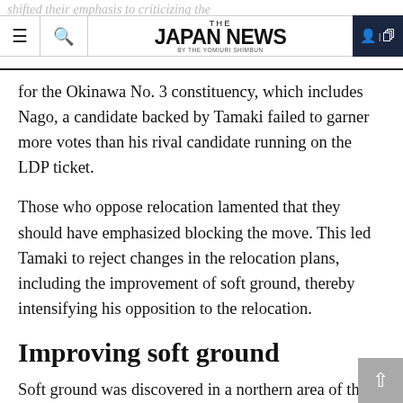THE JAPAN NEWS BY THE YOMIURI SHIMBUN
for the Okinawa No. 3 constituency, which includes Nago, a candidate backed by Tamaki failed to garner more votes than his rival candidate running on the LDP ticket.
Those who oppose relocation lamented that they should have emphasized blocking the move. This led Tamaki to reject changes in the relocation plans, including the improvement of soft ground, thereby intensifying his opposition to the relocation.
Improving soft ground
Soft ground was discovered in a northern area of the